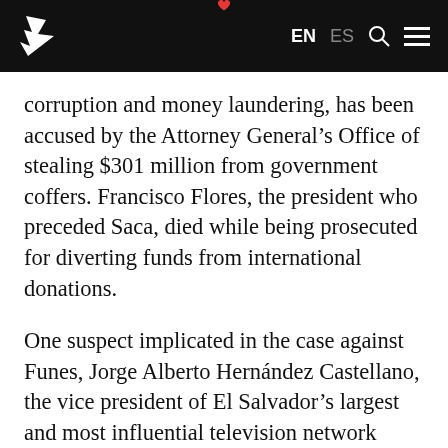EN ES [search] [menu]
corruption and money laundering, has been accused by the Attorney General’s Office of stealing $301 million from government coffers. Francisco Flores, the president who preceded Saca, died while being prosecuted for diverting funds from international donations.
One suspect implicated in the case against Funes, Jorge Alberto Hernández Castellano, the vice president of El Salvador’s largest and most influential television network Telecorporación Salvadoreña, is also accused of having laundered money for Saca. According to two sources consulted by InSight Crime, Hernández Castellano has testified against Funes in